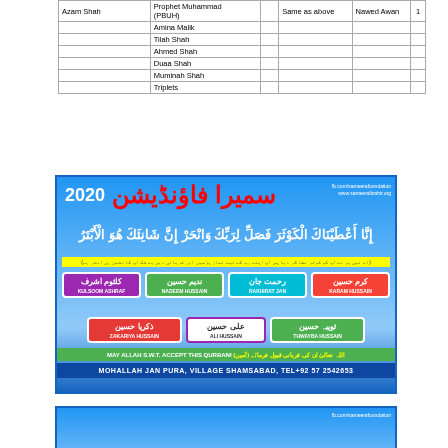|  | Prophet Muhammad (PBUH) |  | Same as above | Nawed Awan | 1 |
| --- | --- | --- | --- | --- | --- |
| Azam Shah | Prophet Muhammad (PBUH) |  | Same as above | Nawed Awan | 1 |
|  | Amina Malik |  |  |  |  |
|  | Tilah Shah |  |  |  |  |
|  | Ahmed Shah |  |  |  |  |
|  | Duaa Shah |  |  |  |  |
|  | Muminah Shah |  |  |  |  |
|  | Triplets |  |  |  |  |
[Figure (infographic): Sameera Foundation 2020 Qurbani poster in Urdu/English. Blue sky background. Shows year 2020, Urdu Quranic verse, and name cards for: Kulsoom Ashraf, Nadeem Hussain, Rakhirat Jan, Karam Hussain, Zakariya Hussain, Ali Hussain, Thwayba Hussain. Bottom text: MAY ALLAH S.W.T. ACCEPT THIS QURBANI and MOHALLAH JAN PURA, VILLAGE SHAMSABAD, TEL+92 57 2542653]
[Figure (infographic): Partial view of another Sameera Foundation poster at the bottom of the page, similar blue sky background with fb.com/sameerafoundation link visible.]